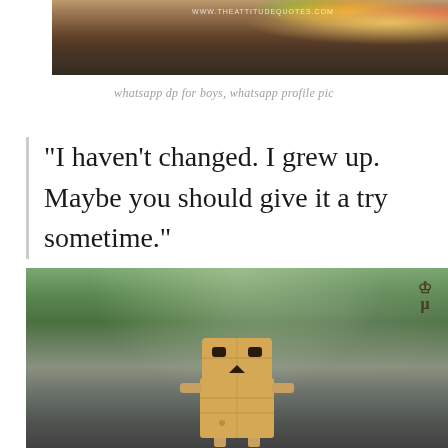[Figure (photo): Top portion of a photo showing a person with flowers in their hair, with watermark text 'WWW.THEATTITUDEQUOTES.COM']
whatsapp dp for boys, whatsapp profile pic
“I haven’t changed. I grew up. Maybe you should give it a try sometime.”
[Figure (photo): Photo of a Danbo (cardboard box robot toy) sitting on a surface with a blurred green outdoor background. A small logo/watermark is visible in the top right corner.]